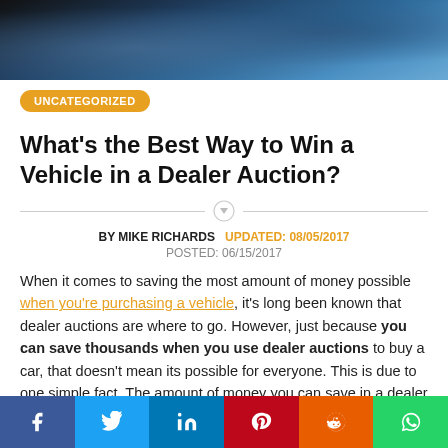[Figure (photo): Close-up of a blue car, showing headlights and body panel]
UNCATEGORIZED
What's the Best Way to Win a Vehicle in a Dealer Auction?
BY MIKE RICHARDS  UPDATED: 08/05/2017
POSTED: 06/15/2017
When it comes to saving the most amount of money possible when you're purchasing a vehicle, it's long been known that dealer auctions are where to go. However, just because you can save thousands when you use dealer auctions to buy a car, that doesn't mean its possible for everyone. This is due to one simple fact. The amount of money you can save in a dealer
[Figure (infographic): Social media share bar with Facebook, Twitter, LinkedIn, Pinterest, Reddit, WhatsApp buttons]